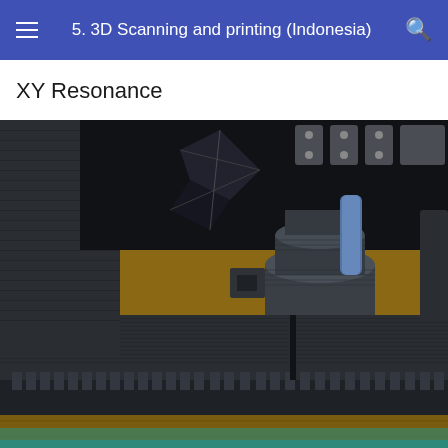5. 3D Scanning and printing (Indonesia)
XY Resonance
[Figure (photo): Close-up photo of a dark gray 3D printed part showing a linear rail or rack with rectangular notches along the bottom edge, and a cylindrical component (possibly a motor mount or coupling) in the center background. Other 3D printed brackets and metal components are visible in the upper portion of the image, resting on a wooden surface.]